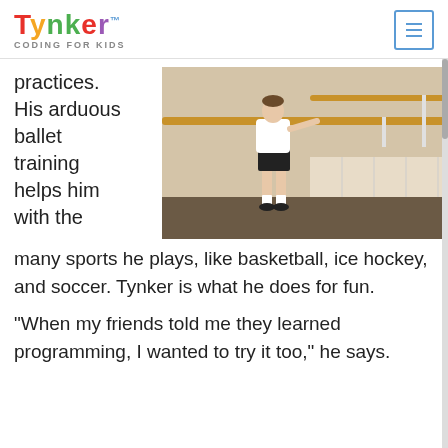TYNKER™ CODING FOR KIDS
practices. His arduous ballet training helps him with the many sports he plays, like basketball, ice hockey, and soccer. Tynker is what he does for fun.
[Figure (photo): A young person in a white t-shirt and black shorts practicing ballet at a barre in a dance studio]
“When my friends told me they learned programming, I wanted to try it too,” he says.